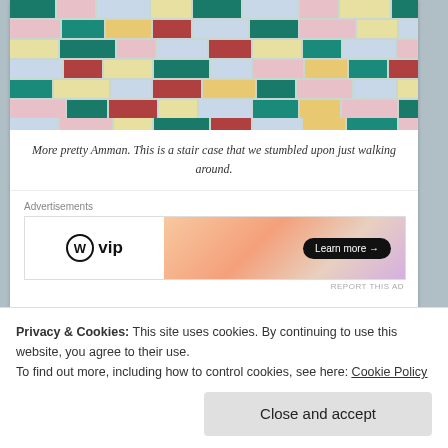[Figure (photo): Colorful tiled staircase with multicolored rectangular tiles in rows — greens, pinks, yellows, blues, reds — photographed from above in Amman, Jordan.]
More pretty Amman. This is a stair case that we stumbled upon just walking around.
Advertisements
[Figure (other): WordPress VIP advertisement banner with 'W vip' logo on the left and 'Learn more →' button on an orange/peach gradient background on the right.]
REPORT THIS AD
Continue reading →
Privacy & Cookies: This site uses cookies. By continuing to use this website, you agree to their use.
To find out more, including how to control cookies, see here: Cookie Policy
Close and accept